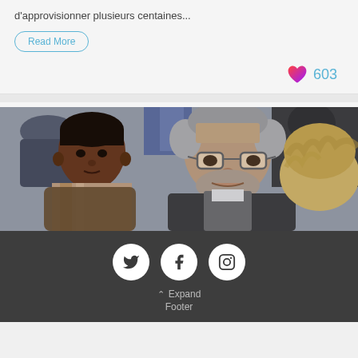d'approvisionner plusieurs centaines...
Read More
603
[Figure (photo): Photo of two men in conversation at an event, one young Black man on the left and an older man with glasses in the center, with a blonde person visible on the right]
Twitter, Facebook, Instagram social icons. Expand Footer